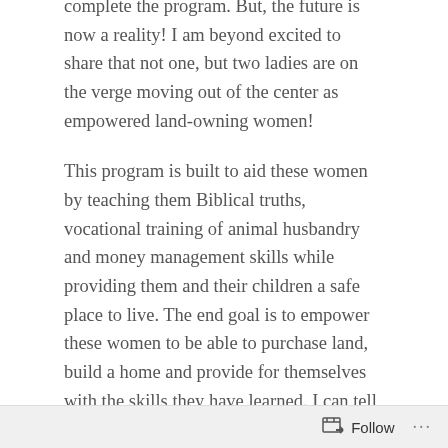complete the program. But, the future is now a reality! I am beyond excited to share that not one, but two ladies are on the verge moving out of the center as empowered land-owning women!

This program is built to aid these women by teaching them Biblical truths, vocational training of animal husbandry and money management skills while providing them and their children a safe place to live. The end goal is to empower these women to be able to purchase land, build a home and provide for themselves with the skills they have learned. I can tell you first hand, these ladies are there. They have been empowered. They have purchased their own land. Just look at the joy on their faces! They are incredibly strong women, and by the grace of God they have
Follow ···